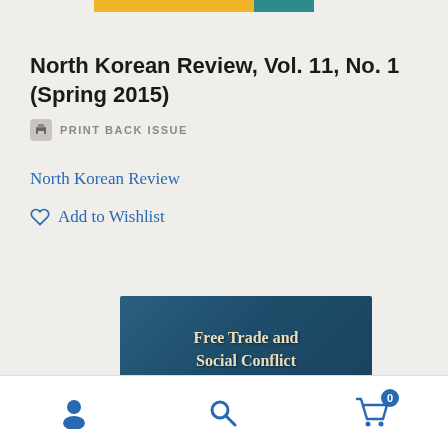[Figure (other): Top decorative color bar with yellow and teal segments]
North Korean Review, Vol. 11, No. 1 (Spring 2015)
PRINT BACK ISSUE
North Korean Review
Add to Wishlist
[Figure (illustration): Book cover banner reading 'Free Trade and Social Conflict in Colombia, Peru and...' on a dark blue-teal background with cream serif text]
[Figure (other): Bottom navigation bar with user icon, search icon, and cart icon with badge showing 0]